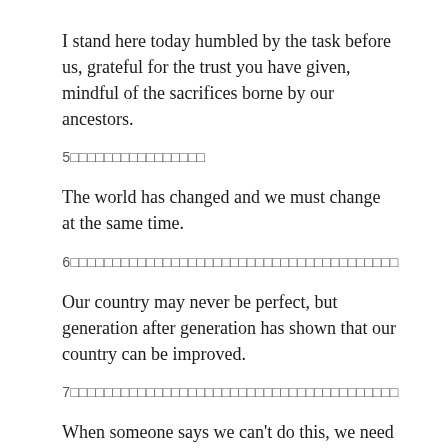I stand here today humbled by the task before us, grateful for the trust you have given, mindful of the sacrifices borne by our ancestors.
5□□□□□□□□□□□□□□□□
The world has changed and we must change at the same time.
6□□□□□□□□□□□□□□□□□□□□□□□□□□□□□□□□□□□□□□□
Our country may never be perfect, but generation after generation has shown that our country can be improved.
7□□□□□□□□□□□□□□□□□□□□□□□□□□□□□□□□□□□□□□□
When someone says we can't do this, we need to respond to this timeless creed: Yes, we can.